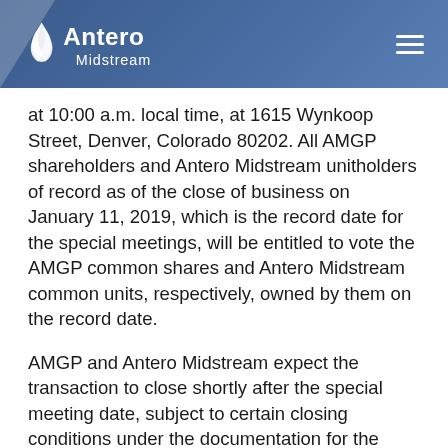Antero Midstream
at 10:00 a.m. local time, at 1615 Wynkoop Street, Denver, Colorado 80202. All AMGP shareholders and Antero Midstream unitholders of record as of the close of business on January 11, 2019, which is the record date for the special meetings, will be entitled to vote the AMGP common shares and Antero Midstream common units, respectively, owned by them on the record date.
AMGP and Antero Midstream expect the transaction to close shortly after the special meeting date, subject to certain closing conditions under the documentation for the simplification transaction, including receipt